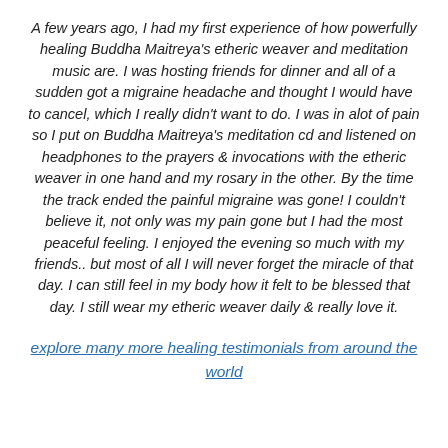A few years ago, I had my first experience of how powerfully healing Buddha Maitreya's etheric weaver and meditation music are. I was hosting friends for dinner and all of a sudden got a migraine headache and thought I would have to cancel, which I really didn't want to do. I was in alot of pain so I put on Buddha Maitreya's meditation cd and listened on headphones to the prayers & invocations with the etheric weaver in one hand and my rosary in the other. By the time the track ended the painful migraine was gone! I couldn't believe it, not only was my pain gone but I had the most peaceful feeling. I enjoyed the evening so much with my friends.. but most of all I will never forget the miracle of that day. I can still feel in my body how it felt to be blessed that day. I still wear my etheric weaver daily & really love it.
explore many more healing testimonials from around the world